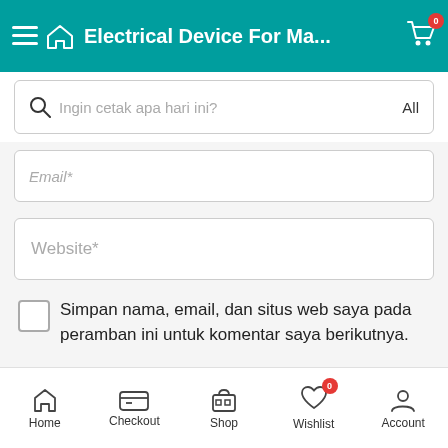Electrical Device For Ma...
Ingin cetak apa hari ini?  All
Email*
Website*
Simpan nama, email, dan situs web saya pada peramban ini untuk komentar saya berikutnya.
Post Comment
Home  Checkout  Shop  Wishlist  Account